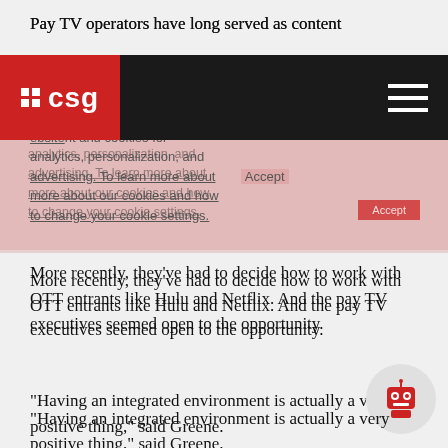Pay TV operators have long served as content
CSG logo and navigation bar
More recently, they've had to decide how to work with OTT entrants like Hulu and Netflix. And the pay TV executives seemed open to the opportunity.
“Having an integrated environment is actually a very positive thing,” said Greene.
Gary Schanman, SVP Video Products at Charter Communications, explained that providing all the content consumers want to watch in one place creates a better customer experience.
“Consumers are watching the same amount of content,” said Schanman. “How can we take the friction out of getting other services? To us, integrating with Netflix is pretty natural.”